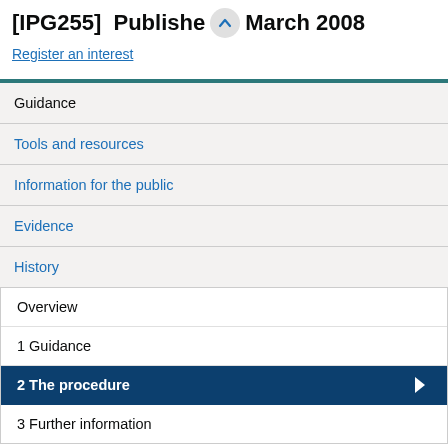[IPG255] Published March 2008
Register an interest
Guidance
Tools and resources
Information for the public
Evidence
History
Overview
1 Guidance
2 The procedure
3 Further information